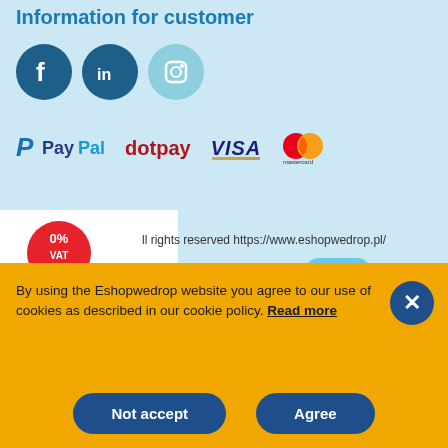Information for customer
[Figure (logo): Social media icons: Facebook (dark blue circle with f), LinkedIn (dark blue circle with in), Instagram (light blue circle with camera icon)]
[Figure (logo): Payment method logos: PayPal, dotpay, VISA, Mastercard]
[Figure (illustration): 0% VAT badge with shopping bag character illustration and E logo]
ll rights reserved https://www.eshopwedrop.pl/
By using the Eshopwedrop website you agree to our use of cookies as described in our cookie policy. Read more
Not accept
Agree